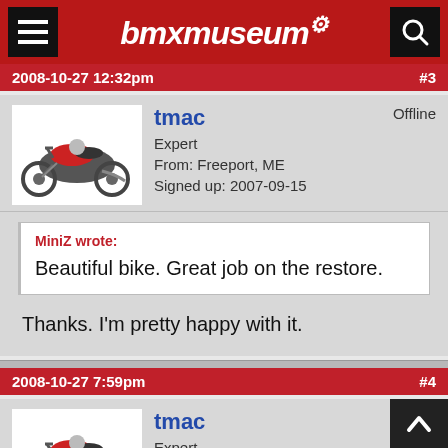bmxmuseum
2008-10-27 12:32pm  #3
tmac
Expert
From: Freeport, ME
Signed up: 2007-09-15
Offline
MiniZ wrote:
Beautiful bike.  Great job on the restore.
Thanks.  I'm pretty happy with it.
2008-10-27 7:59pm  #4
tmac
Expert
From: Freeport, ME
Offline